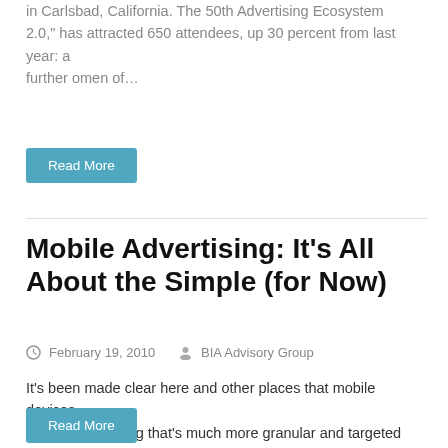in Carlsbad, California. The 50th Advertising Ecosystem 2.0," has attracted 650 attendees, up 30 percent from last year: a further omen of…
Read More
Mobile Advertising: It's All About the Simple (for Now)
February 19, 2010   BIA Advisory Group
It's been made clear here and other places that mobile devices enable advertising that's much more granular and targeted than the PC. We've also argued that the ad formats and campaign objectives should therefore be de-coupled from online equivalents. But there…
Read More